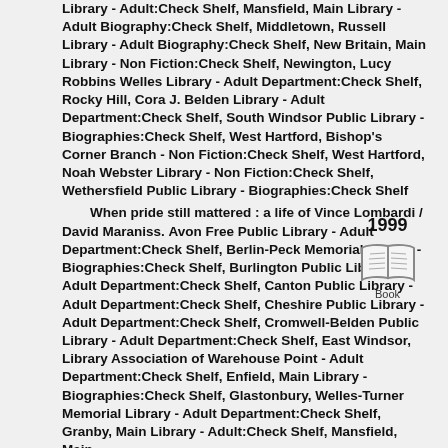Library - Adult:Check Shelf, Mansfield, Main Library - Adult Biography:Check Shelf, Middletown, Russell Library - Adult Biography:Check Shelf, New Britain, Main Library - Non Fiction:Check Shelf, Newington, Lucy Robbins Welles Library - Adult Department:Check Shelf, Rocky Hill, Cora J. Belden Library - Adult Department:Check Shelf, South Windsor Public Library - Biographies:Check Shelf, West Hartford, Bishop's Corner Branch - Non Fiction:Check Shelf, West Hartford, Noah Webster Library - Non Fiction:Check Shelf, Wethersfield Public Library - Biographies:Check Shelf
When pride still mattered : a life of Vince Lombardi / David Maraniss. Avon Free Public Library - Adult Department:Check Shelf, Berlin-Peck Memorial Library - Biographies:Check Shelf, Burlington Public Library - Adult Department:Check Shelf, Canton Public Library - Adult Department:Check Shelf, Cheshire Public Library - Adult Department:Check Shelf, Cromwell-Belden Public Library - Adult Department:Check Shelf, East Windsor, Library Association of Warehouse Point - Adult Department:Check Shelf, Enfield, Main Library - Biographies:Check Shelf, Glastonbury, Welles-Turner Memorial Library - Adult Department:Check Shelf, Granby, Main Library - Adult:Check Shelf, Mansfield, Main Library
[Figure (illustration): Open book icon with '1999' and 'Book' label]